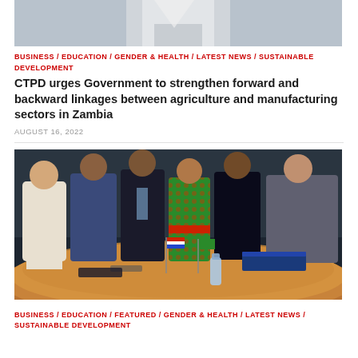[Figure (photo): Partial cropped photo of a person in a white/light shirt, upper body visible]
BUSINESS / EDUCATION / GENDER & HEALTH / LATEST NEWS / SUSTAINABLE DEVELOPMENT
CTPD urges Government to strengthen forward and backward linkages between agriculture and manufacturing sectors in Zambia
AUGUST 16, 2022
[Figure (photo): Group of people standing around a round conference table with small flags, including individuals in suits and a woman in a colorful green and red African print dress]
BUSINESS / EDUCATION / FEATURED / GENDER & HEALTH / LATEST NEWS / SUSTAINABLE DEVELOPMENT